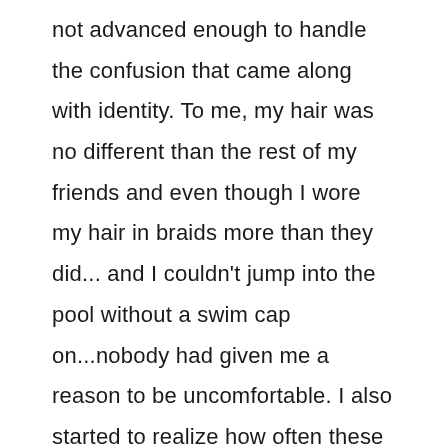not advanced enough to handle the confusion that came along with identity. To me, my hair was no different than the rest of my friends and even though I wore my hair in braids more than they did... and I couldn't jump into the pool without a swim cap on...nobody had given me a reason to be uncomfortable. I also started to realize how often these micro-aggressions, or these subtle slights were taking place. Like when I was 12 and my teacher,